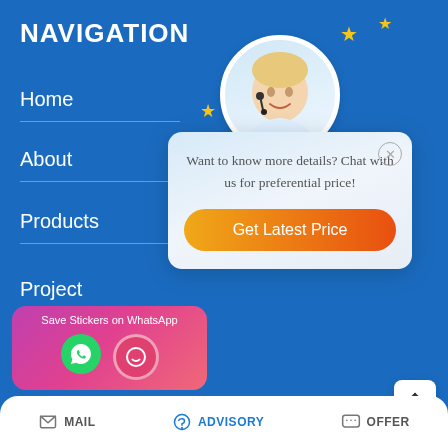NAVIGATION
Home
About
Products
Project
Contact us
[Figure (photo): Customer service agent with headset, smiling, in circular avatar]
Want to know more details? Chat with us for preferential price!
Get Latest Price
Save Stickers on WhatsApp
MAIL
ADVISORY
OFFER